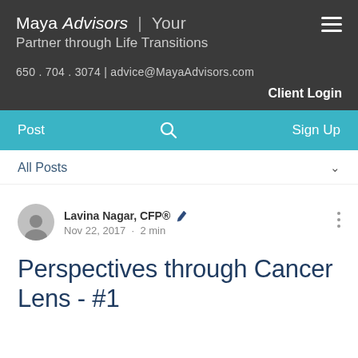Maya Advisors | Your Partner through Life Transitions
650 . 704 . 3074 | advice@MayaAdvisors.com
Client Login
Post  🔍  Sign Up
All Posts
Lavina Nagar, CFP® ✒
Nov 22, 2017 · 2 min
Perspectives through Cancer Lens - #1